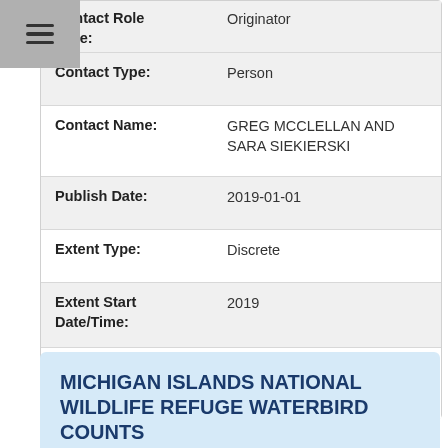| Field | Value |
| --- | --- |
| Contact Role Type: | Originator |
| Contact Type: | Person |
| Contact Name: | GREG MCCLELLAN AND SARA SIEKIERSKI |
| Publish Date: | 2019-01-01 |
| Extent Type: | Discrete |
| Extent Start Date/Time: | 2019 |
| Source Contribution: | BIRDS INFO |
MICHIGAN ISLANDS NATIONAL WILDLIFE REFUGE WATERBIRD COUNTS